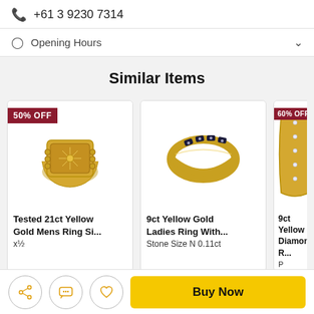+61 3 9230 7314
Opening Hours
Similar Items
[Figure (photo): Gold signet ring, square face with sunburst pattern, 50% OFF badge]
Tested 21ct Yellow Gold Mens Ring Si... x½
[Figure (photo): 9ct yellow gold band ring with dark stones, no badge]
9ct Yellow Gold Ladies Ring With... Stone Size N 0.11ct
[Figure (photo): Partial view of diamond ring, 60% OFF badge]
9ct Yellow Diamond R... P